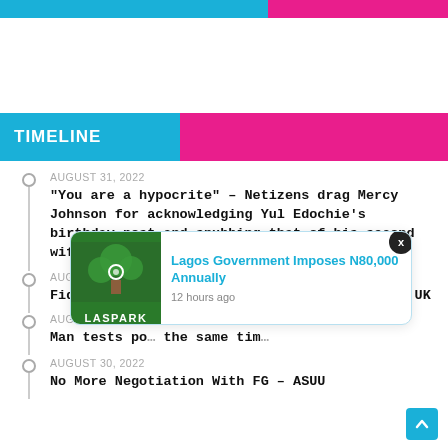TIMELINE
TIMELINE
AUGUST 31, 2022
“You are a hypocrite” – Netizens drag Mercy Johnson for acknowledging Yul Edochie’s birthday post and snubbing that of his second wife, Judy
AUGUST 31, 2022
Fidelity Takes Over 100% Stake In Union Bank UK
AUGUST 30, 2022
Man tests po… the same tim…
AUGUST 30, 2022
No More Negotiation With FG – ASUU
[Figure (screenshot): Notification popup for Lagos Government Imposes N80,000 Annually from LASPARK app, 12 hours ago]